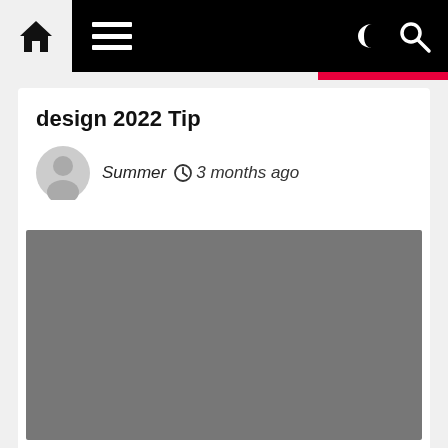Navigation bar with home icon, menu icon, moon icon, search icon
design 2022 Tip
Summer  3 months ago
[Figure (photo): Gray placeholder image block]
Web Design